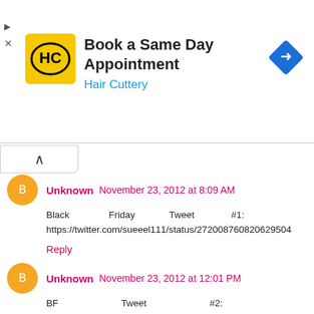[Figure (infographic): Hair Cuttery advertisement banner: yellow square logo with HC letters, text 'Book a Same Day Appointment' and 'Hair Cuttery' in blue, blue diamond arrow icon on the right]
Unknown November 23, 2012 at 8:09 AM
Black Friday Tweet #1: https://twitter.com/sueeel111/status/272008760820629504
Reply
Unknown November 23, 2012 at 12:01 PM
BF Tweet #2: https://twitter.com/sueeel111/status/272067150737453056
Reply
Unknown November 23, 2012 at 2:52 PM
Final Tweet for Black Friday: